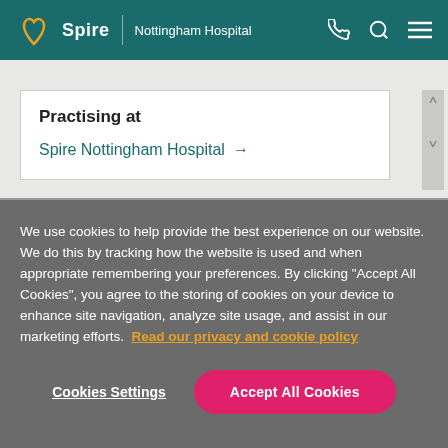Spire | Nottingham Hospital
Practising at
Spire Nottingham Hospital →
We use cookies to help provide the best experience on our website. We do this by tracking how the website is used and when appropriate remembering your preferences. By clicking "Accept All Cookies", you agree to the storing of cookies on your device to enhance site navigation, analyze site usage, and assist in our marketing efforts. Read our privacy and cookie policy
Cookies Settings
Accept All Cookies